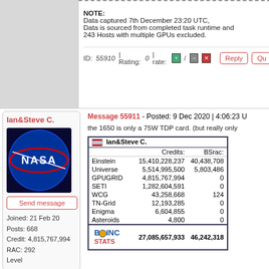NOTE:
Data captured 7th December 23:20 UTC,
Data is sourced from completed task runtime and
243 Hosts with multiple GPUs excluded.
ID: 55910 | Rating: 0 | rate: [+] / [-][x]
Ian&Steve C.
[Figure (photo): NASA logo avatar - blue circular NASA meatball logo]
Send message
Joined: 21 Feb 20
Posts: 668
Credit: 4,815,767,994
RAC: 292
Level
Message 55911 - Posted: 9 Dec 2020 | 4:06:23 U
the 1650 is only a 75W TDP card. (but really only
|  | Credits: | BSrac: |
| --- | --- | --- |
| Einstein | 15,410,228,237 | 40,438,708 |
| Universe | 5,514,995,500 | 5,803,486 |
| GPUGRID | 4,815,767,994 | 0 |
| SETI | 1,282,604,591 | 0 |
| WCG | 43,258,668 | 124 |
| TN-Grid | 12,193,285 | 0 |
| Enigma | 6,604,855 | 0 |
| Asteroids | 4,800 | 0 |
| [BOINC Stats logo] | 27,085,657,933 | 46,242,318 |